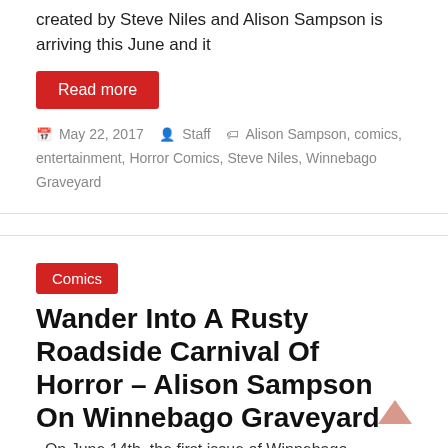created by Steve Niles and Alison Sampson is arriving this June and it
Read more
May 22, 2017   Staff   Alison Sampson, comics, entertainment, Horror Comics, Steve Niles, Winnebago Graveyard
Comics
Wander Into A Rusty Roadside Carnival Of Horror – Alison Sampson On Winnebago Graveyard
On June 14th, the first issue of Winnebago Graveyard arrives from Image Comics, a much-anticipated new horror series from